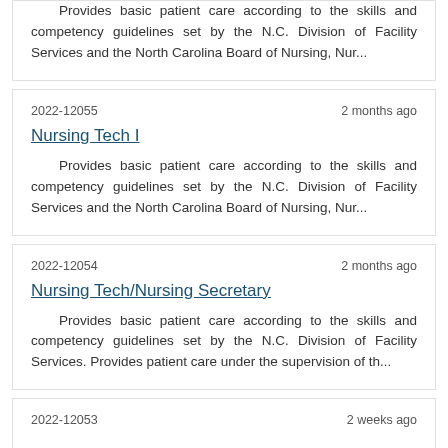Provides basic patient care according to the skills and competency guidelines set by the N.C. Division of Facility Services and the North Carolina Board of Nursing, Nur...
2022-12055    2 months ago
Nursing Tech I
Provides basic patient care according to the skills and competency guidelines set by the N.C. Division of Facility Services and the North Carolina Board of Nursing, Nur...
2022-12054    2 months ago
Nursing Tech/Nursing Secretary
Provides basic patient care according to the skills and competency guidelines set by the N.C. Division of Facility Services. Provides patient care under the supervision of th...
2022-12053    2 weeks ago